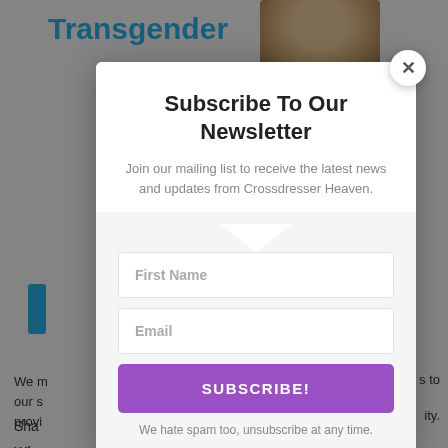[Figure (screenshot): Background webpage showing 'Transgender' heading in blue with a partial photo of a person, partially obscured by a newsletter subscription modal overlay. The modal contains a title 'Subscribe To Our Newsletter', descriptive text, First Name and Email input fields, a purple SUBSCRIBE! button, and a spam disclaimer.]
Subscribe To Our Newsletter
Join our mailing list to receive the latest news and updates from Crossdresser Heaven.
First Name
Email
SUBSCRIBE!
We hate spam too, unsubscribe at any time.